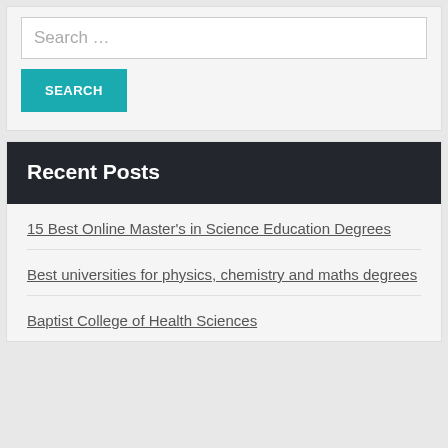Search …
SEARCH
Recent Posts
15 Best Online Master's in Science Education Degrees
Best universities for physics, chemistry and maths degrees
Baptist College of Health Sciences